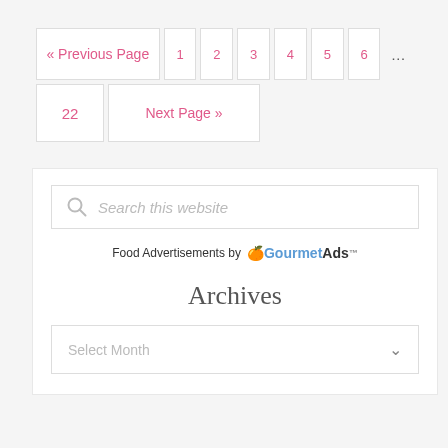« Previous Page  1  2  3  4  5  6  ...  22  Next Page »
[Figure (screenshot): Search box with placeholder text 'Search this website' and a magnifying glass icon on the left]
Food Advertisements by GourmetAds™
Archives
[Figure (screenshot): Dropdown select box labeled 'Select Month' with a chevron/caret on the right]